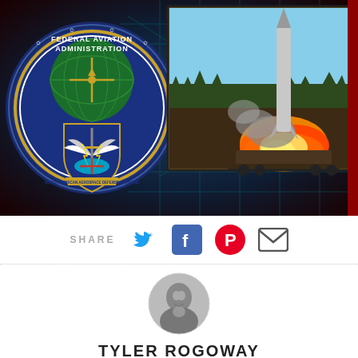[Figure (photo): Hero banner combining FAA (Federal Aviation Administration) logo on the left and North American Aerospace Defense Command logo on the left, overlaid on a radar/map background, with a missile launch photo in the upper right.]
SHARE
[Figure (infographic): Author avatar photo: black and white headshot of Tyler Rogoway]
TYLER ROGOWAY